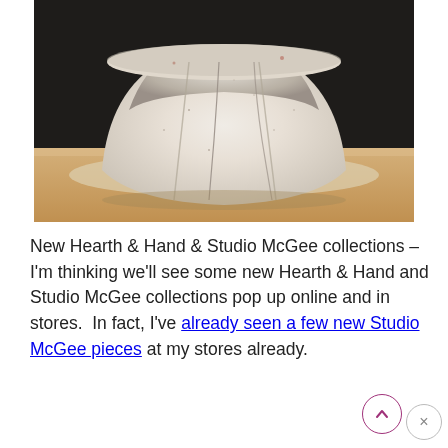[Figure (photo): A white ceramic bowl with faceted sides and visible crack/seam lines, sitting on a warm beige/tan wooden surface. The bowl has a rough, matte texture with a handmade appearance.]
New Hearth & Hand & Studio McGee collections – I'm thinking we'll see some new Hearth & Hand and Studio McGee collections pop up online and in stores.  In fact, I've already seen a few new Studio McGee pieces at my stores already.